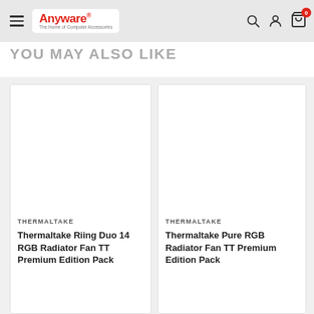[Figure (screenshot): Anyware website header with hamburger menu icon, Anyware logo (red text, white background pill), search icon, account icon, and shopping cart icon with 0 badge]
YOU MAY ALSO LIKE
[Figure (screenshot): Product card for Thermaltake Riing Duo 14 RGB Radiator Fan TT Premium Edition — white product image area, brand label THERMALTAKE, product name text]
[Figure (screenshot): Partially visible product card for Thermaltake Pure RGB Radiator Fan TT Premium Edition — white product image area, brand label THERMALTAKE, product name text (cropped on right)]